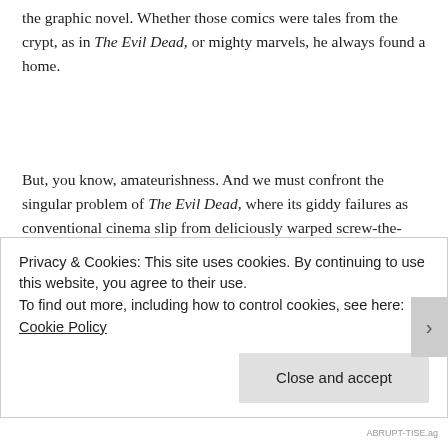the graphic novel. Whether those comics were tales from the crypt, as in The Evil Dead, or mighty marvels, he always found a home.
But, you know, amateurishness. And we must confront the singular problem of The Evil Dead, where its giddy failures as conventional cinema slip from deliciously warped screw-the-rules filmmaking to uncomfortably incompetent filmmaking:
Privacy & Cookies: This site uses cookies. By continuing to use this website, you agree to their use.
To find out more, including how to control cookies, see here: Cookie Policy
Close and accept